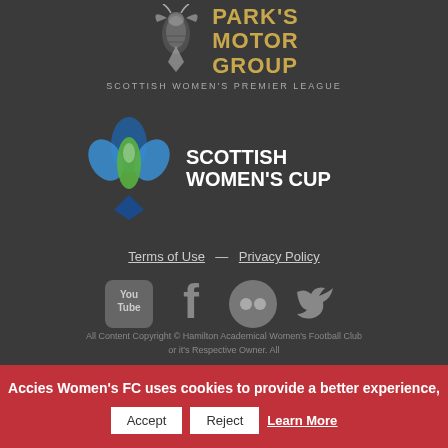[Figure (logo): Park's Motor Group Scottish Women's Premier League logo with wasp emblem]
[Figure (logo): Scottish Women's Cup logo with colorful floral emblem]
Terms of Use — Privacy Policy
[Figure (infographic): Social media icons: YouTube, Facebook, Flickr, Twitter]
All Content Copyright © Hamilton Academical Women's Football Club or it's Respective Owner. All
Accies Women's FC uses cookies to provide a better experience,
Accept  Reject  Learn More